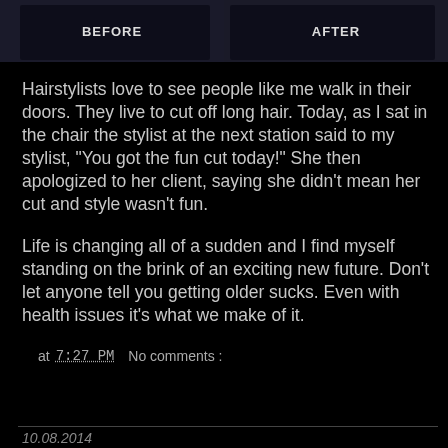[Figure (photo): Before and after photo comparison of a hair makeover. Left panel labeled 'BEFORE', right panel labeled 'AFTER', showing a person with long hair versus short hair.]
Hairstylists love to see people like me walk in their doors. They live to cut off long hair. Today, as I sat in the chair the stylist at the next station said to my stylist, "You got the fun cut today!" She then apologized to her client, saying she didn't mean her cut and style wasn't fun.

Life is changing all of a sudden and I find myself standing on the brink of an exciting new future. Don't let anyone tell you getting older sucks. Even with health issues it's what we make of it.
at 7:27 PM   No comments :
Share
10.08.2014